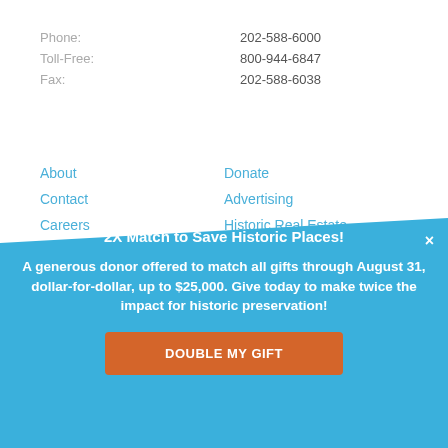Phone: 202-588-6000
Toll-Free: 800-944-6847
Fax: 202-588-6038
About
Contact
Careers
Press
Donate
Advertising
Historic Real Estate
Partnerships
2X Match to Save Historic Places!
A generous donor offered to match all gifts through August 31, dollar-for-dollar, up to $25,000. Give today to make twice the impact for historic preservation!
DOUBLE MY GIFT